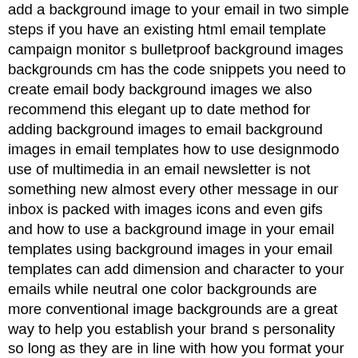add a background image to your email in two simple steps if you have an existing html email template campaign monitor s bulletproof background images backgrounds cm has the code snippets you need to create email body background images we also recommend this elegant up to date method for adding background images to email background images in email templates how to use designmodo use of multimedia in an email newsletter is not something new almost every other message in our inbox is packed with images icons and even gifs and how to use a background image in your email templates using background images in your email templates can add dimension and character to your emails while neutral one color backgrounds are more conventional image backgrounds are a great way to help you establish your brand s personality so long as they are in line with how you format your company s website tutorial how to add background images in email choose an email template open the bee editor at beefree io choose a template to get started we typically choose the basic one column template email background images the why how and wow of it here you get an option of applying email template background image to entire email as well as table cells and you can generate a code for both scenarios the only issue that might arise is the size of the image the ultimate guide to background images in email litmus background images are images that are applied to the background